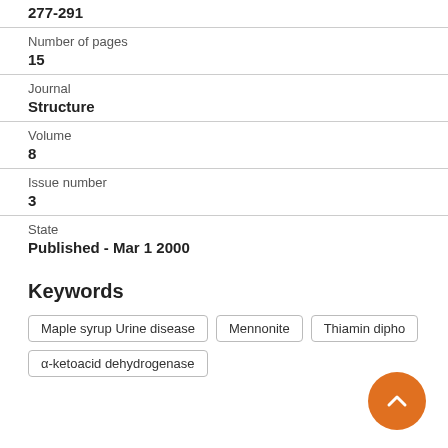277-291
Number of pages
15
Journal
Structure
Volume
8
Issue number
3
State
Published - Mar 1 2000
Keywords
Maple syrup Urine disease
Mennonite
Thiamin dipho
α-ketoacid dehydrogenase